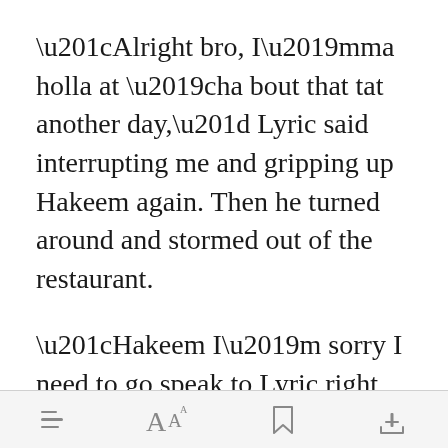“Alright bro, I’mma holla at ’cha bout that tat another day,” Lyric said interrupting me and gripping up Hakeem again. Then he turned around and stormed out of the restaurant.
“Hakeem I’m sorry I need to go speak to Lyric right quick,” I said jumping up from the table and running out th[Open in app]
[toolbar: menu, font size, bookmark, share]